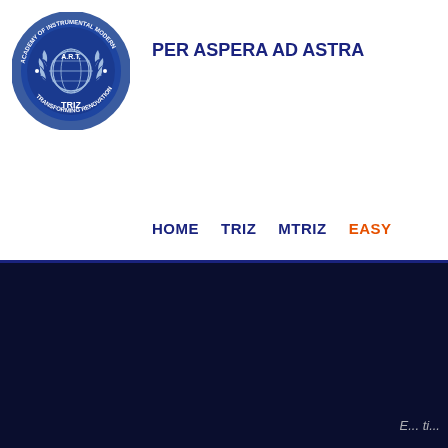[Figure (logo): Academy of Instrumental Modern TRIZ (A.R.T.) circular emblem with globe and laurel wreath on blue background]
PER ASPERA AD ASTRA
HOME   TRIZ   MTRIZ   EASY
[Figure (other): Dark navy blue background section filling the lower portion of the page]
...emerging text...